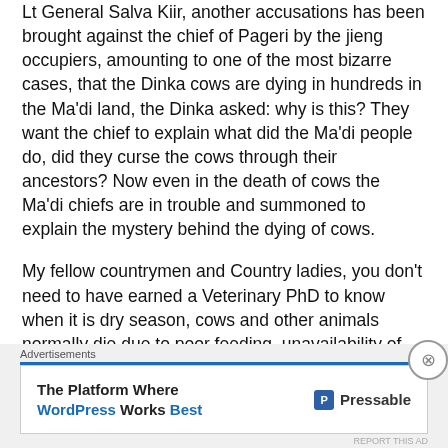Lt General Salva Kiir, another accusations has been brought against the chief of Pageri by the jieng occupiers, amounting to one of the most bizarre cases, that the Dinka cows are dying in hundreds in the Ma'di land, the Dinka asked: why is this? They want the chief to explain what did the Ma'di people do, did they curse the cows through their ancestors? Now even in the death of cows the Ma'di chiefs are in trouble and summoned to explain the mystery behind the dying of cows.
My fellow countrymen and Country ladies, you don't need to have earned a Veterinary PhD to know when it is dry season, cows and other animals normally die due to poor feeding, unavailability of green fresh pastures, lack of available water sources for the animals, long distances covers in search of
Advertisements
[Figure (other): Advertisement banner: 'The Platform Where WordPress Works Best' with Pressable logo]